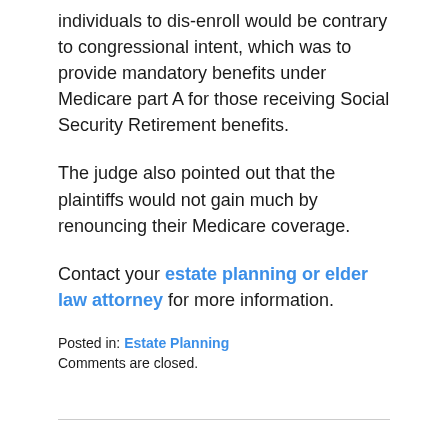individuals to dis-enroll would be contrary to congressional intent, which was to provide mandatory benefits under Medicare part A for those receiving Social Security Retirement benefits.
The judge also pointed out that the plaintiffs would not gain much by renouncing their Medicare coverage.
Contact your estate planning or elder law attorney for more information.
Posted in: Estate Planning
Comments are closed.